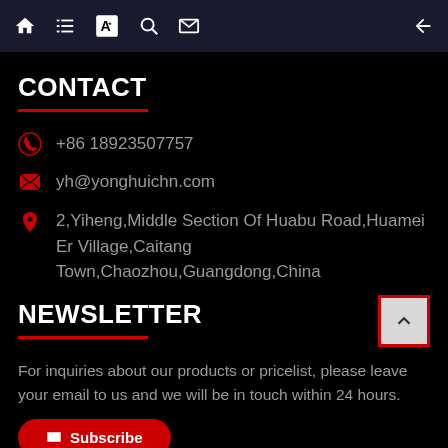Navigation bar with home, list, translate, search, mail icons and back arrow
CONTACT
+86 18923507757
yh@yonghuichn.com
2,Yiheng,Middle Section Of Huabu Road,Huamei Er Village,Caitang Town,Chaozhou,Guangdong,China
NEWSLETTER
For inquiries about our products or pricelist, please leave your email to us and we will be in touch within 24 hours.